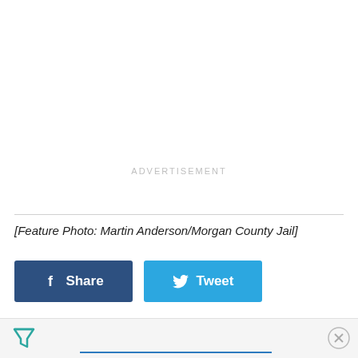ADVERTISEMENT
[Feature Photo: Martin Anderson/Morgan County Jail]
[Figure (other): Facebook Share button (dark blue) and Twitter Tweet button (light blue)]
[Figure (other): Advertisement bar at bottom with funnel/filter icon, blue underline, and close (X) button]